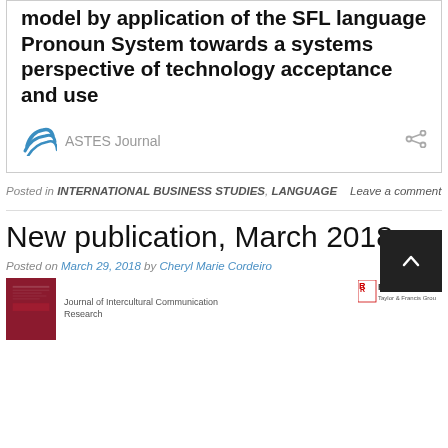model by application of the SFL language Pronoun System towards a systems perspective of technology acceptance and use
ASTES Journal
Posted in INTERNATIONAL BUSINESS STUDIES, LANGUAGE   Leave a comment
New publication, March 2018
Posted on March 29, 2018 by Cheryl Marie Cordeiro
[Figure (photo): Journal of Intercultural Communication Research book cover (dark red)]
Journal of Intercultural Communication Research
[Figure (logo): Routledge Taylor & Francis Group logo]
[Figure (other): Back to top button (dark square with up arrow)]